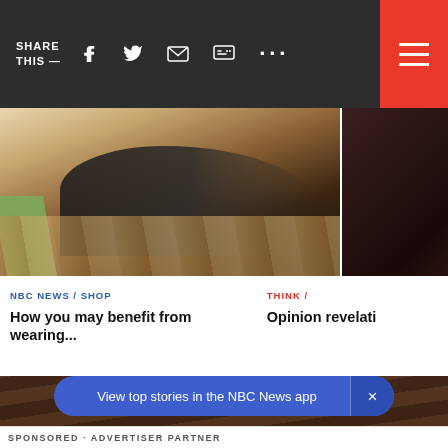SHARE THIS —
[Figure (photo): Top navigation bar with social sharing icons (Facebook, Twitter, email, message, more) on dark background, and red hamburger menu button on right]
[Figure (photo): Article thumbnail image showing person exercising/doing yoga on wooden floor]
NBC NEWS / SHOP
How you may benefit from wearing...
THINK /
Opinion revelati
[Figure (photo): Photo of a worker on a rooftop, wearing a hoodie and holding a power tool (drill/screwgun), working on roof gutters or shingles, with trees and houses in background]
View top stories in the NBC News app
SPONSORED · ADVERTISER PARTNER